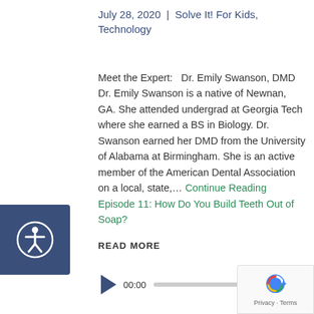July 28, 2020  |  Solve It! For Kids, Technology
Meet the Expert:   Dr. Emily Swanson, DMD Dr. Emily Swanson is a native of Newnan, GA. She attended undergrad at Georgia Tech where she earned a BS in Biology. Dr. Swanson earned her DMD from the University of Alabama at Birmingham. She is an active member of the American Dental Association on a local, state,… Continue Reading Episode 11: How Do You Build Teeth Out of Soap?
READ MORE
[Figure (other): Accessibility icon — circular figure with human silhouette on a dark blue rounded rectangle button]
[Figure (other): Audio player UI with play button, 00:00 start time, progress bar, and 00:00 end time]
[Figure (other): Google reCAPTCHA badge with logo and Privacy · Terms links]